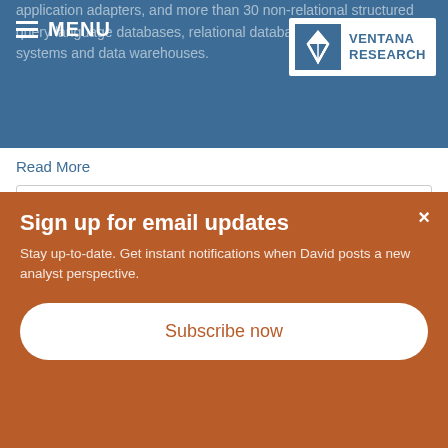MENU — application adapters, and more than 30 non-relational structured query language databases, relational database management systems and data warehouses. [Ventana Research logo]
Read More
0 Comments Click here to read/write comments
Topics: embedded analytics, Analytics, Collaboration, Data Governance, Information Management, Data-Driven Technology and...
Sign up for email updates
Stay up-to-date. Get instant notifications when David posts a new analyst perspective.
Subscribe now